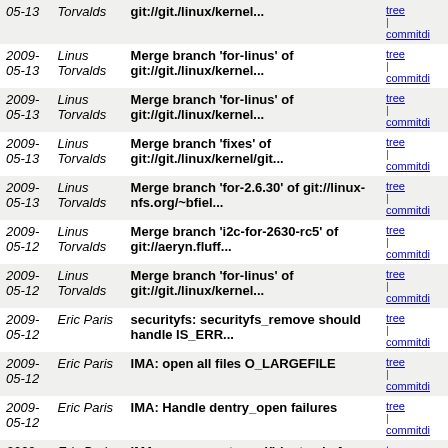| Date | Author | Commit Message | Links |
| --- | --- | --- | --- |
| 2009-05-13 | Linus Torvalds | Merge branch 'for-linus' of git://git./linux/kernel... | tree | commitdi |
| 2009-05-13 | Linus Torvalds | Merge branch 'for-linus' of git://git./linux/kernel... | tree | commitdi |
| 2009-05-13 | Linus Torvalds | Merge branch 'fixes' of git://git./linux/kernel/git... | tree | commitdi |
| 2009-05-13 | Linus Torvalds | Merge branch 'for-2.6.30' of git://linux-nfs.org/~bfiel... | tree | commitdi |
| 2009-05-12 | Linus Torvalds | Merge branch 'i2c-for-2630-rc5' of git://aeryn.fluff... | tree | commitdi |
| 2009-05-12 | Linus Torvalds | Merge branch 'for-linus' of git://git./linux/kernel... | tree | commitdi |
| 2009-05-12 | Eric Paris | securityfs: securityfs_remove should handle IS_ERR... | tree | commitdi |
| 2009-05-12 | Eric Paris | IMA: open all files O_LARGEFILE | tree | commitdi |
| 2009-05-12 | Eric Paris | IMA: Handle dentry_open failures | tree | commitdi |
| 2009-05-12 | Eric Paris | IMA: use current_cred() instead of current->cred | tree | commitdi |
| 2009-05-11 | Linus Torvalds | Merge branch 'for-linus' of git://repo.or.cz/cris-mirror | tree | commitdi |
| 2009-05-10 | Linus Torvalds | Merge git://git./linux/kernel/git/gregkh/staging-2.6 | tree | commitdi |
| 2009-05-10 | Linus Torvalds | Merge git://git./linux/kernel/git/gregkh/usb-2.6 | tree | commitdi |